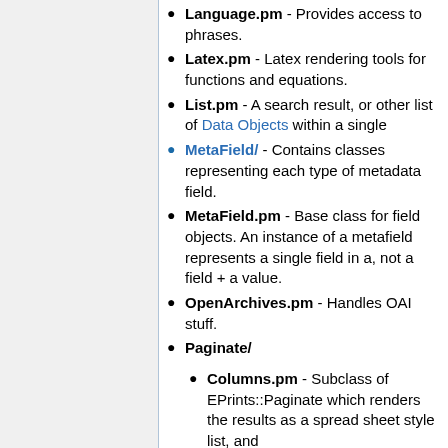Language.pm - Provides access to phrases.
Latex.pm - Latex rendering tools for functions and equations.
List.pm - A search result, or other list of Data Objects within a single
MetaField/ - Contains classes representing each type of metadata field.
MetaField.pm - Base class for field objects. An instance of a metafield represents a single field in a, not a field + a value.
OpenArchives.pm - Handles OAI stuff.
Paginate/
Columns.pm - Subclass of EPrints::Paginate which renders the results as a spread sheet style list, and